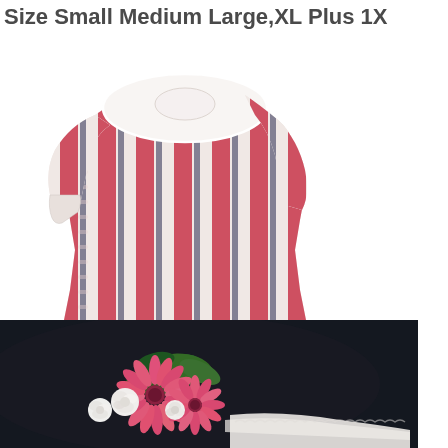Size Small Medium Large,XL Plus 1X
[Figure (photo): A long-sleeved nightgown or housecoat with a striped pattern in red/pink, white, and navy, featuring a rounded collar with white trim. The garment is full-length.]
[Figure (photo): A dark/black background with pink gerbera daisies and white roses arranged as a floral bouquet, with a white lacy item visible at bottom right.]